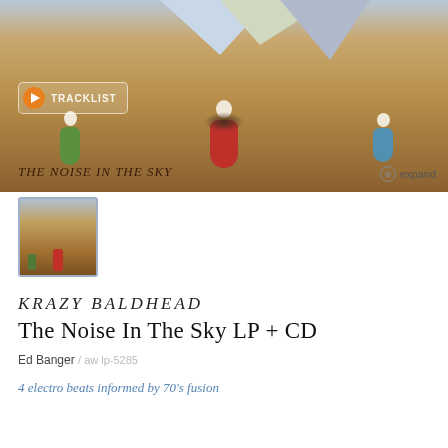[Figure (photo): Album art for 'The Noise In The Sky' showing three baroque-costumed figures (left in green, center in red, right in blue) on a desert landscape with geometric sky shapes. A play button overlaid top-left reads 'TRACKLIST'. Bottom-left text reads 'THE NOISE IN THE SKY'. Bottom-right shows an expand icon with 'expand' label.]
[Figure (photo): Small thumbnail of the same album art showing the three figures on desert landscape.]
KRAZY BALDHEAD
The Noise In The Sky LP + CD
Ed Banger / aw lp-5285
4 electro beats informed by 70's fusion